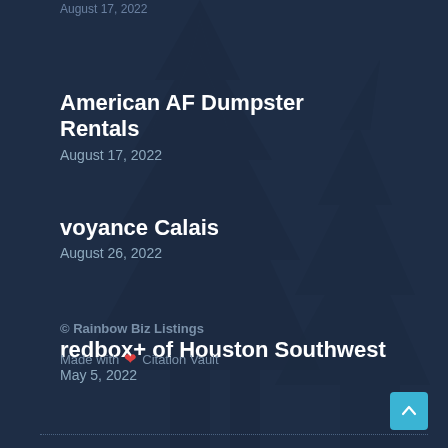August 17, 2022
American AF Dumpster Rentals
August 17, 2022
voyance Calais
August 26, 2022
redbox+ of Houston Southwest
May 5, 2022
© Rainbow Biz Listings
Made with ❤ Citation Vault